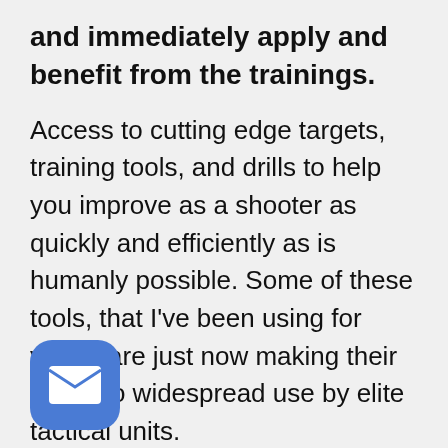and immediately apply and benefit from the trainings.
Access to cutting edge targets, training tools, and drills to help you improve as a shooter as quickly and efficiently as is humanly possible. Some of these tools, that I've been using for years, are just now making their way into widespread use by elite tactical units.
Immediate on-demand access to firearms training lessons from our top selling paid training courses. That includes tactical vision training...
[Figure (illustration): Blue rounded square icon with a white envelope/mail symbol inside]